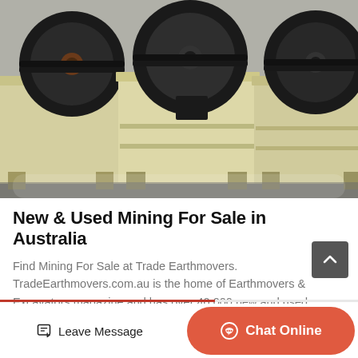[Figure (photo): Row of large yellow industrial jaw crushers/mining machines with black flywheels, parked outdoors on a concrete surface.]
New & Used Mining For Sale in Australia
Find Mining For Sale at Trade Earthmovers. TradeEarthmovers.com.au is the home of Earthmovers & Excavators magazine and has over 40,000 new and used…
Leave Message
Chat Online